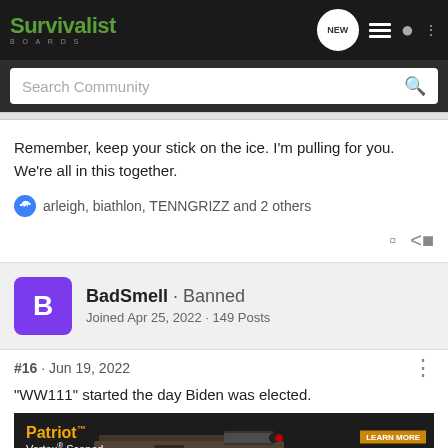Survivalist BOARDS — NEW | menu | user | more
Search Community
Remember, keep your stick on the ice. I'm pulling for you. We're all in this together.
arleigh, biathlon, TENNGRIZZ and 2 others
BadSmell · Banned
Joined Apr 25, 2022 · 149 Posts
#16 · Jun 19, 2022
"WW111" started the day Biden was elected.
[Figure (photo): Patriot Vortex Scoped Combo advertisement banner featuring a rifle and MOSSBERG branding with LEARN MORE button]